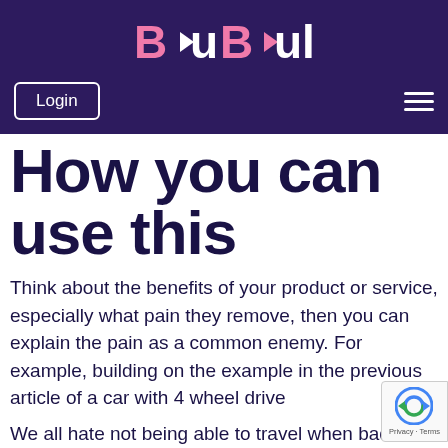BuBul
How you can use this
Think about the benefits of your product or service, especially what pain they remove, then you can explain the pain as a common enemy. For example, building on the example in the previous article of a car with 4 wheel drive
We all hate not being able to travel when bad